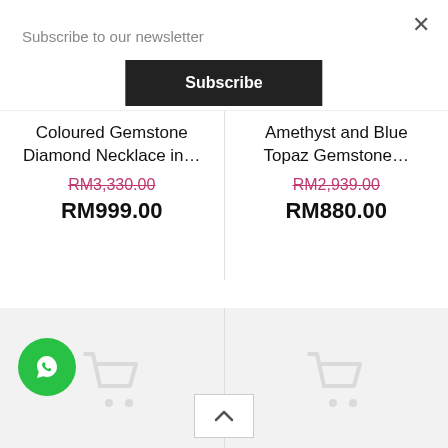Subscribe to our newsletter
Subscribe
×
Coloured Gemstone Diamond Necklace in…
RM3,330.00
RM999.00
Amethyst and Blue Topaz Gemstone…
RM2,939.00
RM880.00
[Figure (screenshot): Two product placeholder cards with grey background and shopping cart icons]
[Figure (illustration): WhatsApp circular green button icon]
[Figure (illustration): Scroll to top button with upward chevron]